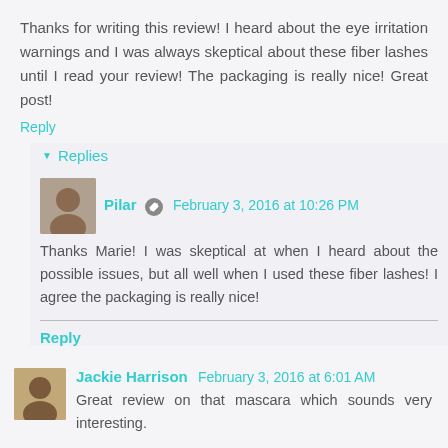Thanks for writing this review! I heard about the eye irritation warnings and I was always skeptical about these fiber lashes until I read your review! The packaging is really nice! Great post!
Reply
Replies
Pilar  February 3, 2016 at 10:26 PM
Thanks Marie! I was skeptical at when I heard about the possible issues, but all well when I used these fiber lashes! I agree the packaging is really nice!
Reply
Jackie Harrison  February 3, 2016 at 6:01 AM
Great review on that mascara which sounds very interesting.